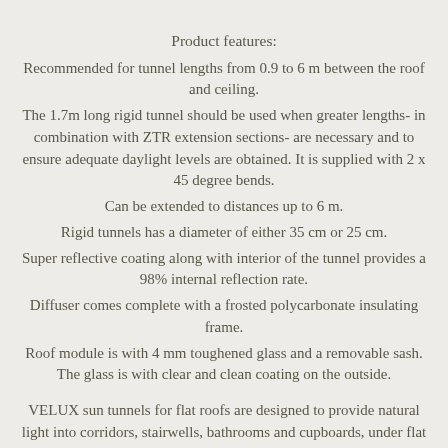Product features:
Recommended for tunnel lengths from 0.9 to 6 m between the roof and ceiling.
The 1.7m long rigid tunnel should be used when greater lengths- in combination with ZTR extension sections- are necessary and to ensure adequate daylight levels are obtained. It is supplied with 2 x 45 degree bends.
Can be extended to distances up to 6 m.
Rigid tunnels has a diameter of either 35 cm or 25 cm.
Super reflective coating along with interior of the tunnel provides a 98% internal reflection rate.
Diffuser comes complete with a frosted polycarbonate insulating frame.
Roof module is with 4 mm toughened glass and a removable sash. The glass is with clear and clean coating on the outside.
VELUX sun tunnels for flat roofs are designed to provide natural light into corridors, stairwells, bathrooms and cupboards, under flat